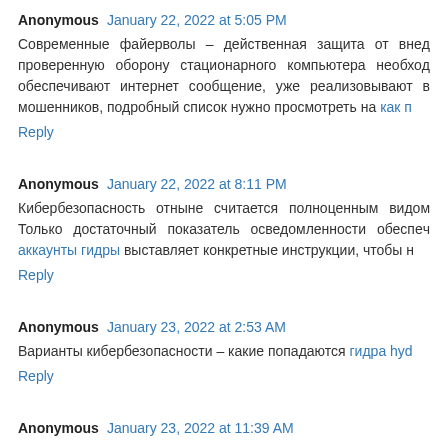Anonymous  January 22, 2022 at 5:05 PM
Современные файерволы – действенная защита от вне... проверенную оборону стационарного компьютера необхо... обеспечивают интернет сообщение, уже реализовывают в... мошенников, подробный список нужно просмотреть на как п...
Reply
Anonymous  January 22, 2022 at 8:11 PM
Кибербезопасность отныне считается полноценным видо... Только достаточный показатель осведомленности обеспе... аккаунты гидры выставляет конкретные инструкции, чтобы н...
Reply
Anonymous  January 23, 2022 at 2:53 AM
Варианты кибербезопасности – какие попадаются гидра hyd...
Reply
Anonymous  January 23, 2022 at 11:39 AM